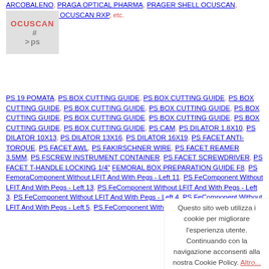ARCOBALENO, PRAGA OPTICAL PHARMA, PRAGER SHELL OCUSCAN, PRAGER SHELL OCUSCAN RXP, etc.
[Figure (logo): Logo box with OCUSCAN text, hash symbol #, arrow > and ps text on grey background]
PS 19 POMATA, PS BOX CUTTING GUIDE, PS BOX CUTTING GUIDE, PS BOX CUTTING GUIDE, PS BOX CUTTING GUIDE, PS BOX CUTTING GUIDE, PS BOX CUTTING GUIDE, PS BOX CUTTING GUIDE, PS BOX CUTTING GUIDE, PS BOX CUTTING GUIDE, PS BOX CUTTING GUIDE, PS CAM, PS DILATOR 1.8X10, PS DILATOR 10X13, PS DILATOR 13X16, PS DILATOR 16X19, PS FACET ANTI-TORQUE, PS FACET AWL, PS FACET KIRSCHNER WIRE, PS FACET REAMER 3.5MM, PS FACET SCREW INSTRUMENT CONTAINER, PS FACET SCREWDRIVER, PS FACET T-HANDLE LOCKING 1/4" FEMORAL BOX PREPARATION GUIDE F8, PS Femoral Component Without LFIT And With Pegs - Left 11, PS Femoral Component Without LFIT And With Pegs - Left 13, PS Femoral Component Without LFIT And With Pegs - Left 3, PS Femoral Component Without LFIT And With Pegs - Left 4, PS Femoral Component Without LFIT And With Pegs - Left 5, PS Femoral Component Without LFIT And With Pegs - Left 6
Questo sito web utilizza i cookie per migliorare l'esperienza utente. Continuando con la navigazione acconsenti alla nostra Cookie Policy. Altro...